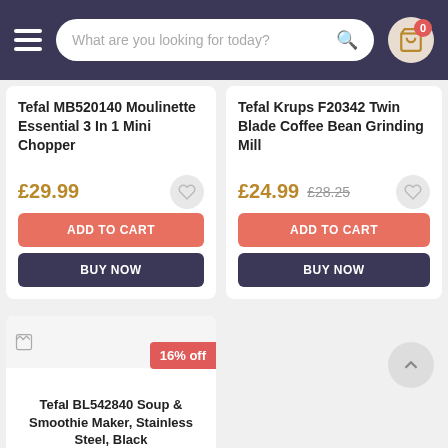Navigation header with hamburger menu, search bar 'What are you looking for today?', and cart icon with 0 items
Tefal MB520140 Moulinette Essential 3 In 1 Mini Chopper
£29.99
ADD TO CART
BUY NOW
Tefal Krups F20342 Twin Blade Coffee Bean Grinding Mill
£24.99  £28.25
ADD TO CART
BUY NOW
Tefal BL542840 Soup & Smoothie Maker, Stainless Steel, Black
16% off